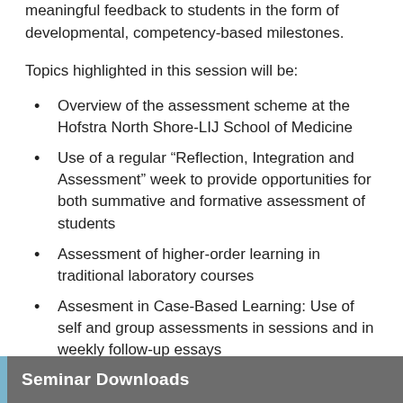meaningful feedback to students in the form of developmental, competency-based milestones.
Topics highlighted in this session will be:
Overview of the assessment scheme at the Hofstra North Shore-LIJ School of Medicine
Use of a regular “Reflection, Integration and Assessment” week to provide opportunities for both summative and formative assessment of students
Assessment of higher-order learning in traditional laboratory courses
Assesment in Case-Based Learning: Use of self and group assessments in sessions and in weekly follow-up essays
Seminar Downloads